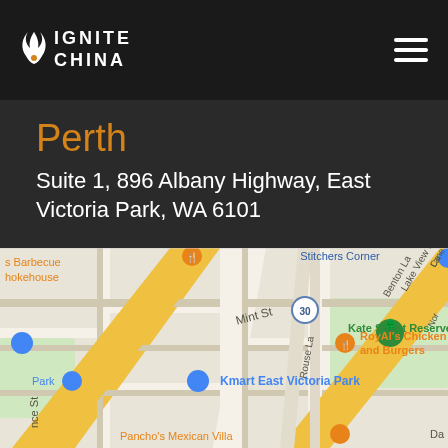IGNITE CHINA
Perth
Suite 1, 896 Albany Highway, East Victoria Park, WA 6101
[Figure (map): Google Maps screenshot showing East Victoria Park, WA area near 896 Albany Highway, featuring street names including Mint St, Swansea St, Rouse La, Benton La, Lake View St, and landmarks including Kate Street Reserve, Kmart East Victoria Park, RoyAl's Chicken and Burgers, Pancho's Mexican Villa, s Barbecue hokehouse. Route 30 marker visible.]